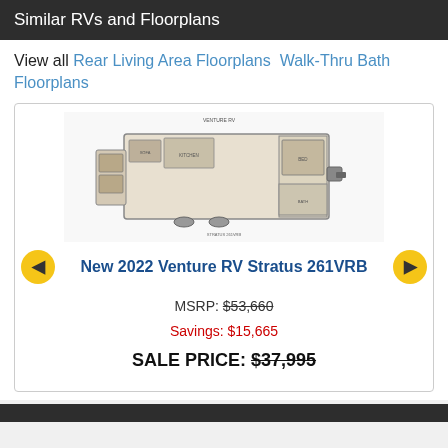Similar RVs and Floorplans
View all Rear Living Area Floorplans  Walk-Thru Bath Floorplans
[Figure (other): RV floorplan diagram for New 2022 Venture RV Stratus 261VRB showing layout of the trailer interior]
New 2022 Venture RV Stratus 261VRB
MSRP: $53,660
Savings: $15,665
SALE PRICE: $37,995